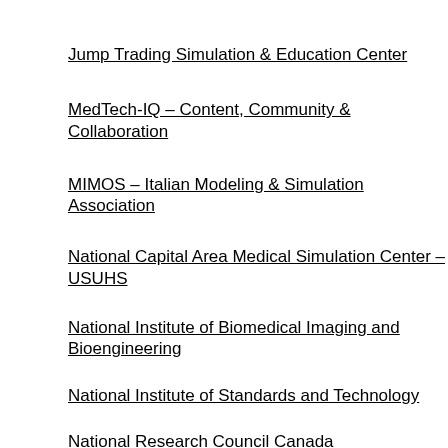Jump Trading Simulation & Education Center
MedTech-IQ – Content, Community & Collaboration
MIMOS – Italian Modeling & Simulation Association
National Capital Area Medical Simulation Center – USUHS
National Institute of Biomedical Imaging and Bioengineering
National Institute of Standards and Technology
National Research Council Canada
Purdue Online Engineering